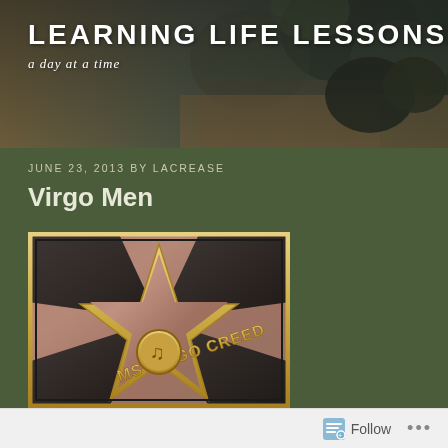LEARNING LIFE LESSONS
a day at a time
JUNE 23, 2013 BY LACREASE
Virgo Men
[Figure (photo): A Hollywood Walk of Fame style star plaque reading 'MS VIRGO CREED' with a music note medallion in the center, set in pink granite]
Follow ...